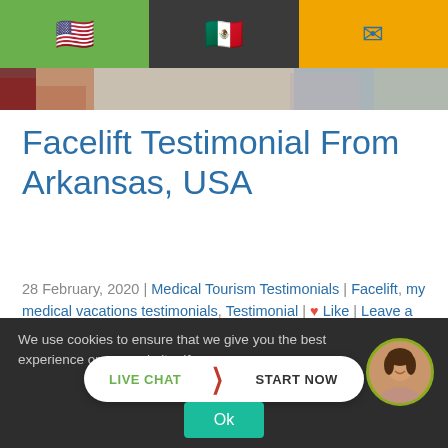[Figure (screenshot): Website navigation bar with three sections: green with US flag, dark with Mexico flag, orange with email icon]
[Figure (photo): Partial photo strip showing people from waist down, cropped at top of content area]
Facelift Testimonial From Arkansas, USA
28 February, 2020 | Medical Tourism Testimonials | Facelift, my medical vacations testimonials, Testimonial | ♥ Like | Leave a comment |
We use cookies to ensure that we give you the best experience on our website. If you co...
[Figure (screenshot): Live chat button with LIVE CHAT | START NOW and female avatar]
Ok